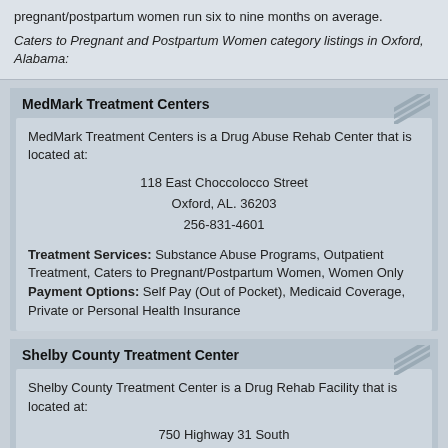pregnant/postpartum women run six to nine months on average.
Caters to Pregnant and Postpartum Women category listings in Oxford, Alabama:
MedMark Treatment Centers
MedMark Treatment Centers is a Drug Abuse Rehab Center that is located at:
118 East Choccolocco Street
Oxford, AL. 36203
256-831-4601
Treatment Services: Substance Abuse Programs, Outpatient Treatment, Caters to Pregnant/Postpartum Women, Women Only
Payment Options: Self Pay (Out of Pocket), Medicaid Coverage, Private or Personal Health Insurance
Shelby County Treatment Center
Shelby County Treatment Center is a Drug Rehab Facility that is located at:
750 Highway 31 South
Alabaster, AL. 35007
205-216-0200
Treatment Services: Substance Abuse Programs, Outpatient